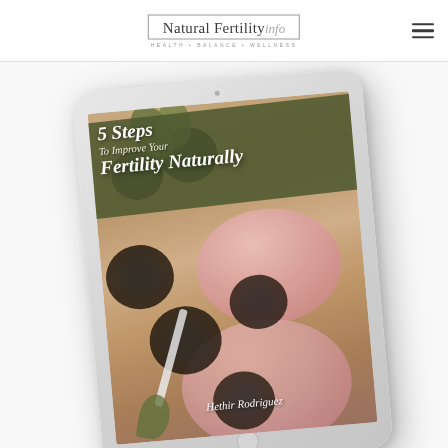[Figure (logo): Natural Fertility Info logo with tagline HEALTH • BALANCE • WELLNESS in a bordered box]
[Figure (illustration): Hamburger menu icon (three horizontal lines) in top right corner]
[Figure (photo): iPad tablet mockup displaying a book cover titled '5 Steps To Improve Your Fertility Naturally' by Hethir Rodriguez, with an image of blackberries and pink smoothie drinks on a wooden surface]